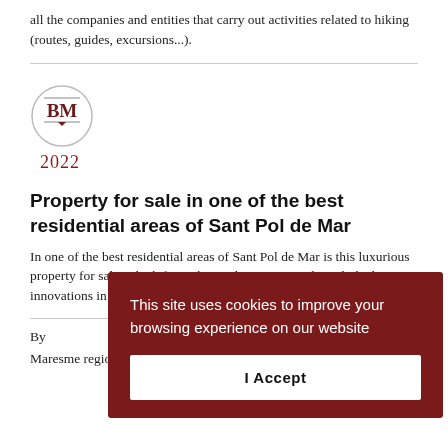all the companies and entities that carry out activities related to hiking (routes, guides, excursions...).
[Figure (logo): BM logo circle with year 2022 below]
Property for sale in one of the best residential areas of Sant Pol de Mar
In one of the best residential areas of Sant Pol de Mar is this luxurious property for sale, which fuses the Mediterranean style with the latest innovations in construction technology and energy efficiency.
By
Maresme region has all and in abundance. Many
This site uses cookies to improve your browsing experience on our website
I Accept